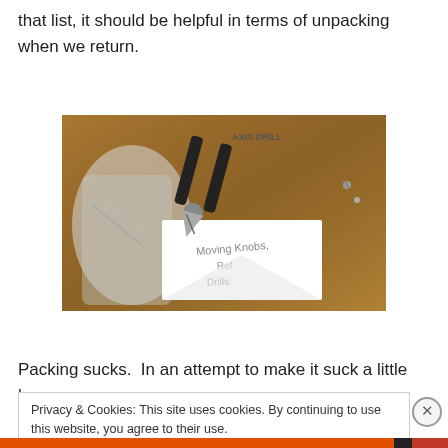that list, it should be helpful in terms of unpacking when we return.
[Figure (photo): Photo of pliers/wire cutters tool on a wooden surface next to a plastic bag with hardware items and a white envelope with handwritten text reading 'Moving Knobs, Ref, Drills']
Packing sucks.  In an attempt to make it suck a little less,
Privacy & Cookies: This site uses cookies. By continuing to use this website, you agree to their use.
To find out more, including how to control cookies, see here: Cookie Policy
Close and accept